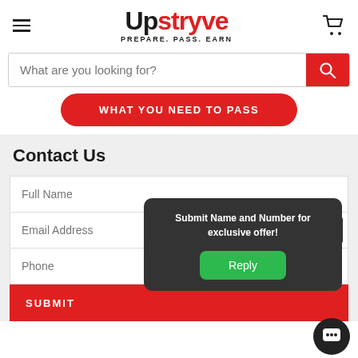[Figure (logo): Upstryve logo with tagline PREPARE. PASS. EARN]
What are you looking for?
WHAT YOU NEED TO PASS
Contact Us
Full Name
Email Address
Phone
SUBMIT
Submit Name and Number for exclusive offer!
Reply